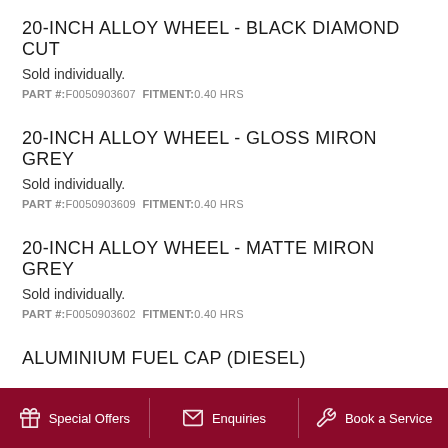20-INCH ALLOY WHEEL - BLACK DIAMOND CUT
Sold individually.
PART #:F0050903607  FITMENT:0.40 HRS
20-INCH ALLOY WHEEL - GLOSS MIRON GREY
Sold individually.
PART #:F0050903609  FITMENT:0.40 HRS
20-INCH ALLOY WHEEL - MATTE MIRON GREY
Sold individually.
PART #:F0050903602  FITMENT:0.40 HRS
ALUMINIUM FUEL CAP (DIESEL)
Special Offers  Enquiries  Book a Service